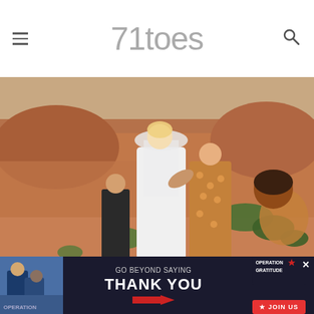71toes
[Figure (photo): Outdoor scene with people in a red rock desert landscape. A person wearing a white dress and white veil hugs another person wearing a brown/orange patterned dress. A child in dark clothing is visible to the left, and a dark-haired person is partially visible on the right. Red sandstone formations and green shrubs are in the background. Watermark '71toes.com' visible in the lower right.]
As you can see...
[Figure (infographic): Advertisement banner with dark navy background. Left side shows a photo of people in military/civilian setting. Center reads 'GO BEYOND SAYING THANK YOU' in large white bold text with an arrow graphic. Right side shows 'OPERATION GRATITUDE' logo with a star-spangled graphic and 'JOIN US' button in red. An 'x' close button is in the top right corner.]